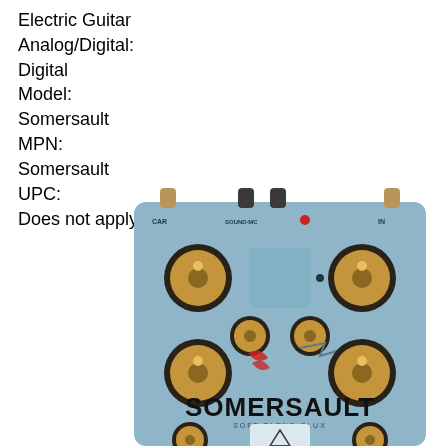Electric Guitar
Analog/Digital:
Digital
Model:
Somersault
MPN:
Somersault
UPC:
Does not apply
[Figure (photo): Photo of the Somersault guitar effects pedal by JAM Pedals. The pedal has a light blue/steel blue enclosure with four large gold/bronze knobs, two smaller knobs in the middle, a red logo mark, and the text 'SOMERSAULT' in large black letters across the bottom half. The top has input/output jacks.]